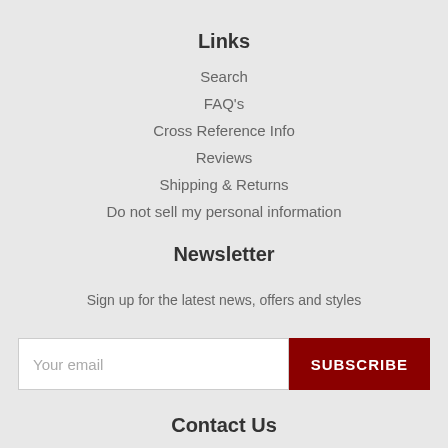Links
Search
FAQ's
Cross Reference Info
Reviews
Shipping & Returns
Do not sell my personal information
Newsletter
Sign up for the latest news, offers and styles
Contact Us